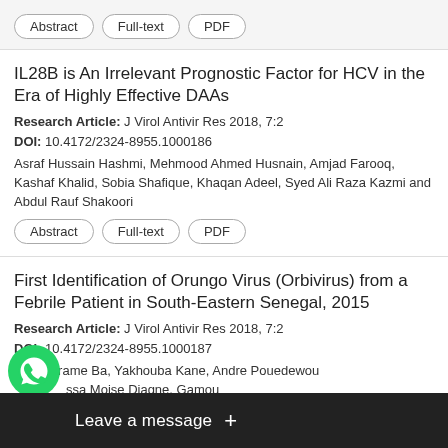Abstract  Full-text  PDF
IL28B is An Irrelevant Prognostic Factor for HCV in the Era of Highly Effective DAAs
Research Article: J Virol Antivir Res 2018, 7:2
DOI: 10.4172/2324-8955.1000186
Asraf Hussain Hashmi, Mehmood Ahmed Husnain, Amjad Farooq, Kashaf Khalid, Sobia Shafique, Khaqan Adeel, Syed Ali Raza Kazmi and Abdul Rauf Shakoori
Abstract  Full-text  PDF
First Identification of Orungo Virus (Orbivirus) from a Febrile Patient in South-Eastern Senegal, 2015
Research Article: J Virol Antivir Res 2018, 7:2
DOI: 10.4172/2324-8955.1000187
Faye, Arame Ba, Yakhouba Kane, Andre Pouedewou ...ssa Moise Diagne, Gamou Fall, ... ll and Ousmane Faye
Abs...